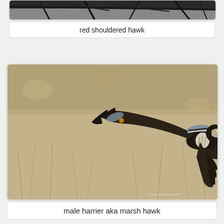[Figure (photo): Partial view of a red shouldered hawk perched among bare tree branches, dark silhouetted branches against a grey background]
red shouldered hawk
[Figure (photo): Male harrier (aka marsh hawk) in flight over a field of dry grass, showing dark brown and white plumage, wings spread downward, banded tail visible, copyright watermark in bottom right]
male harrier aka marsh hawk
[Figure (photo): Partial view of a hawk with reddish-brown and spotted plumage against a clear blue sky, crop cuts off the image]